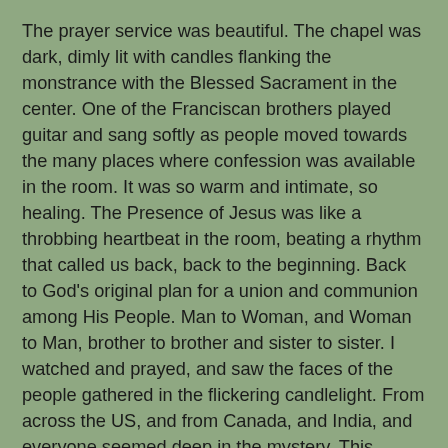The prayer service was beautiful. The chapel was dark, dimly lit with candles flanking the monstrance with the Blessed Sacrament in the center. One of the Franciscan brothers played guitar and sang softly as people moved towards the many places where confession was available in the room. It was so warm and intimate, so healing. The Presence of Jesus was like a throbbing heartbeat in the room, beating a rhythm that called us back, back to the beginning. Back to God's original plan for a union and communion among His People. Man to Woman, and Woman to Man, brother to brother and sister to sister. I watched and prayed, and saw the faces of the people gathered in the flickering candlelight. From across the US, and from Canada, and India, and everyone seemed deep in the mystery. This retreat looks at just what it means to be human, just what God created us to be, and it is work. Getting past the lies our culture tells us, the twisted vision of what a man is, what a woman is really is hard work. People have been wounded, the pain runs deep. But I feel everytime I come to Black Rock that the healing has begun. This Theology of the Body is the antidote.